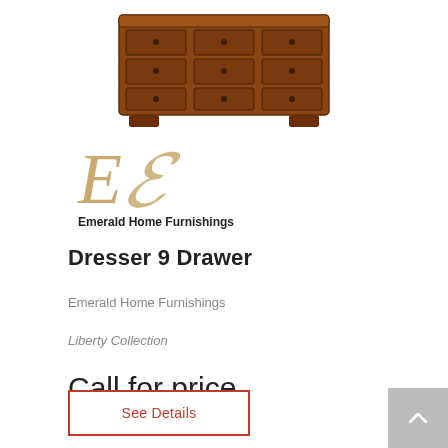[Figure (photo): Product photo of a wooden 9-drawer dresser in dark cherry/brown finish, viewed from a slight angle showing the top and front with decorative hardware.]
[Figure (logo): Emerald Home Furnishings logo with a large italic cursive 'E' in gold/tan color above the company name in bold dark text.]
Dresser 9 Drawer
Emerald Home Furnishings
Liberty Collection
Call for price
See Details